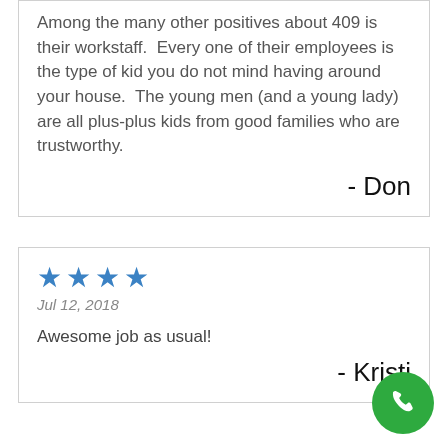Among the many other positives about 409 is their workstaff.  Every one of their employees is the type of kid you do not mind having around your house.  The young men (and a young lady) are all plus-plus kids from good families who are trustworthy.
- Don
★★★★ Jul 12, 2018
Awesome job as usual!
- Kristi